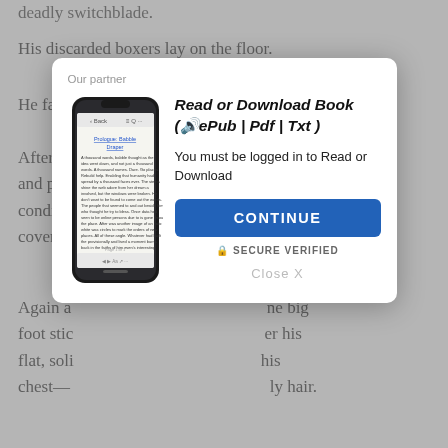deadly switchblade.
His discarded boxers lay on the floor.
He fasc...
After br... sneakers and put... the air-conditioning... covered...
Again a... one big foot stic... er his flat, soli... his chest—... ly hair.
With one... the dark tuft of h... ade him look vul... ose, the position... e.
[Figure (screenshot): Modal dialog overlay on a book reading website. Shows 'Our partner' label, a smartphone displaying an ebook page, bold italic title 'Read or Download Book (🔊ePub | Pdf | Txt)', text 'You must be logged in to Read or Download', a blue CONTINUE button, 'SECURE VERIFIED' text, and 'Close X' link.]
At nearly six and a half feet tall, solidly built and finely sculpted, Spencer Lark was one of the biggest, strongest, most impressive men she'd ever met.